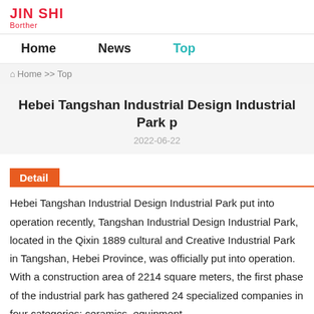JIN SHI Borther
Home   News   Top
Home >> Top
Hebei Tangshan Industrial Design Industrial Park p
2022-06-22
Detail
Hebei Tangshan Industrial Design Industrial Park put into operation recently, Tangshan Industrial Design Industrial Park, located in the Qixin 1889 cultural and Creative Industrial Park in Tangshan, Hebei Province, was officially put into operation. With a construction area of 2214 square meters, the first phase of the industrial park has gathered 24 specialized companies in four categories: ceramics, equipment...